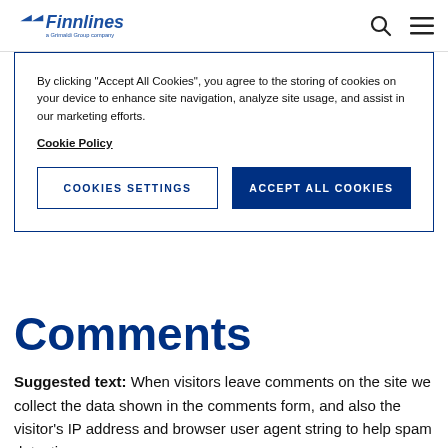Finnlines — a Grimaldi Group company
By clicking "Accept All Cookies", you agree to the storing of cookies on your device to enhance site navigation, analyze site usage, and assist in our marketing efforts. Cookie Policy
Cookies Settings | Accept All Cookies
Comments
Suggested text: When visitors leave comments on the site we collect the data shown in the comments form, and also the visitor's IP address and browser user agent string to help spam detection.
An anonymized string created from your email address (also called a hash) may be provided to the Gravatar...